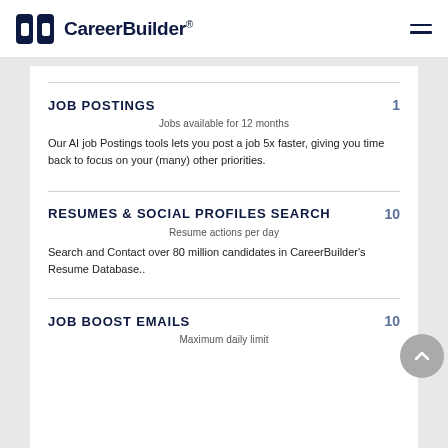CareerBuilder®
JOB POSTINGS  1
Jobs available for 12 months
Our AI job Postings tools lets you post a job 5x faster, giving you time back to focus on your (many) other priorities.
RESUMES & SOCIAL PROFILES SEARCH  10
Resume actions per day
Search and Contact over 80 million candidates in CareerBuilder's Resume Database..
JOB BOOST EMAILS  10
Maximum daily limit